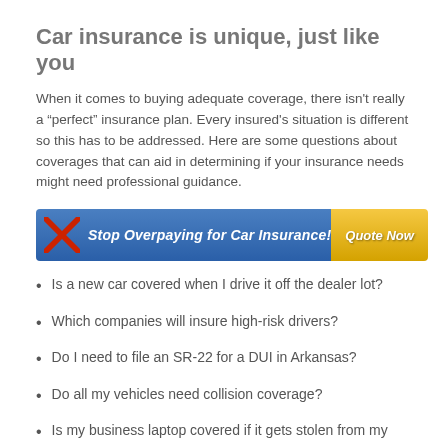Car insurance is unique, just like you
When it comes to buying adequate coverage, there isn't really a “perfect” insurance plan. Every insured's situation is different so this has to be addressed. Here are some questions about coverages that can aid in determining if your insurance needs might need professional guidance.
[Figure (infographic): Promotional banner: red X icon on left, blue background with text 'Stop Overpaying for Car Insurance!' and yellow 'Quote Now' button on right]
Is a new car covered when I drive it off the dealer lot?
Which companies will insure high-risk drivers?
Do I need to file an SR-22 for a DUI in Arkansas?
Do all my vehicles need collision coverage?
Is my business laptop covered if it gets stolen from my